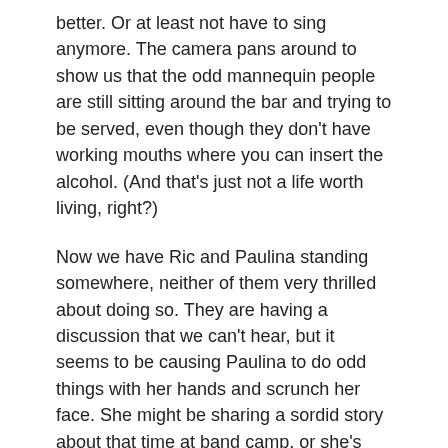better. Or at least not have to sing anymore. The camera pans around to show us that the odd mannequin people are still sitting around the bar and trying to be served, even though they don't have working mouths where you can insert the alcohol. (And that's just not a life worth living, right?)
Now we have Ric and Paulina standing somewhere, neither of them very thrilled about doing so. They are having a discussion that we can't hear, but it seems to be causing Paulina to do odd things with her hands and scrunch her face. She might be sharing a sordid story about that time at band camp, or she's begging him to cut his hair. Who knows. He doesn't seem to be very supportive, so I'm going to blame him for everything.
Back to just Paulina, in that bed again, having an emotional breakdown. She keeps laughing and crying and holding her face. (I'm used to seeing this at family reunions over the years, so I'm something of an expert at identifying the warning signs. If I had a nickel for every time one of my relatives went to the dark side after too much Pabst Blue Ribbon, well…)